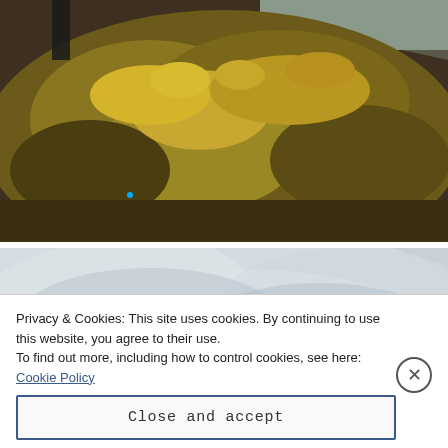[Figure (photo): Aerial or hillside view of autumn tundra/moorland vegetation with golden-brown grass and shrubs, with a person partially visible at upper left]
[Figure (photo): Overcast sky with light grey clouds over green rolling hills or moorland, with small figures visible on a hilltop at right]
Privacy & Cookies: This site uses cookies. By continuing to use this website, you agree to their use.
To find out more, including how to control cookies, see here: Cookie Policy
Close and accept